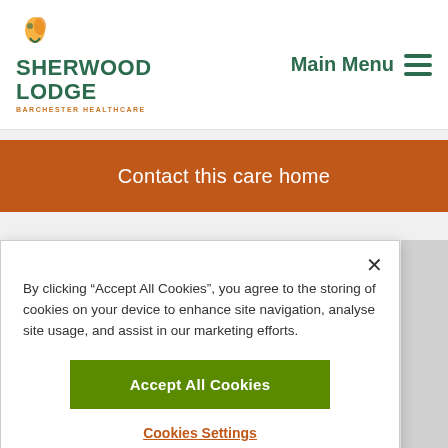[Figure (logo): Sherwood Lodge Barchester Healthcare logo with green text and orange subtext, featuring a small decorative icon]
Main Menu
Contact this care home
By clicking “Accept All Cookies”, you agree to the storing of cookies on your device to enhance site navigation, analyse site usage, and assist in our marketing efforts.
Accept All Cookies
Cookies Settings